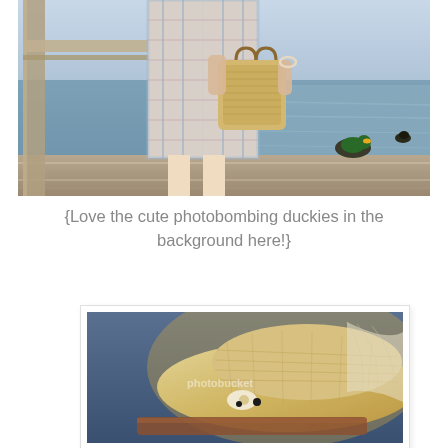[Figure (photo): Woman in plaid dress holding a straw handbag, standing on a wooden dock near water with two ducks photobombing in the background]
{Love the cute photobombing duckies in the background here!}
[Figure (photo): Close-up of a straw hat decorated with white flowers and tulle netting, with photobucket watermark overlay]